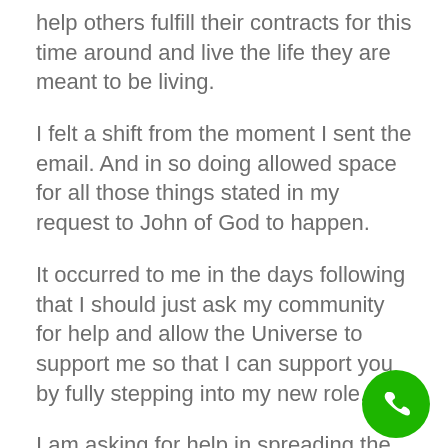help others fulfill their contracts for this time around and live the life they are meant to be living.
I felt a shift from the moment I sent the email. And in so doing allowed space for all those things stated in my request to John of God to happen.
It occurred to me in the days following that I should just ask my community for help and allow the Universe to support me so that I can support you by fully stepping into my new role.
I am asking for help in spreading the word about my work. Is that help you?
Do you have any ideas regarding ways to spread the word about my work?
If you have worked with me, do you know anyone who would benefit from working with me? Could you refer them?